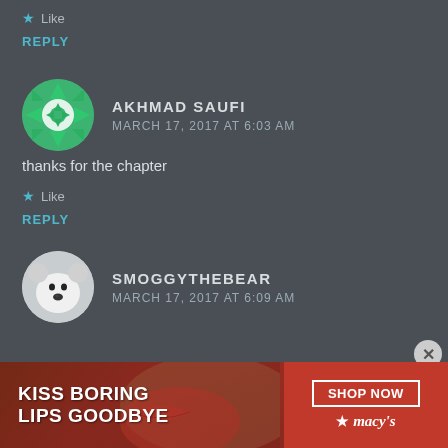★ Like
REPLY
[Figure (illustration): Avatar for Akhmad Saufi — circular geometric/mandala pattern in green and white]
AKHMAD SAUFI
MARCH 17, 2017 AT 6:03 AM
thanks for the chapter
★ Like
REPLY
[Figure (photo): Avatar for SmoggytheBear — white dog/bear face on grey background]
SMOGGYTHEBEAR
MARCH 17, 2017 AT 6:09 AM
[Figure (advertisement): Macy's ad banner: KISS BORING LIPS GOODBYE with SHOP NOW button and Macy's star logo, red background with model's lips]